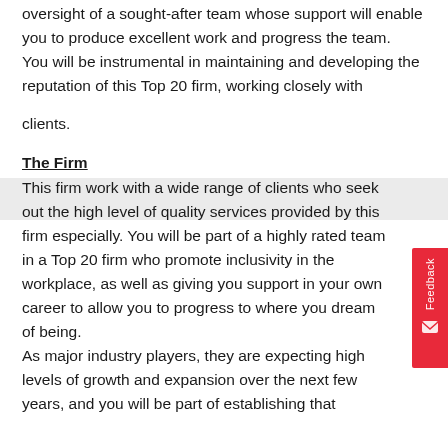oversight of a sought-after team whose support will enable you to produce excellent work and progress the team.
You will be instrumental in maintaining and developing the reputation of this Top 20 firm, working closely with clients.
The Firm
This firm work with a wide range of clients who seek out the high level of quality services provided by this firm especially. You will be part of a highly rated team in a Top 20 firm who promote inclusivity in the workplace, as well as giving you support in your own career to allow you to progress to where you dream of being.
As major industry players, they are expecting high levels of growth and expansion over the next few years, and you will be part of establishing that